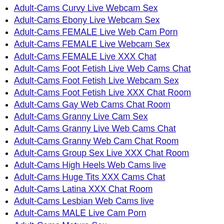Adult-Cams Curvy Live Webcam Sex
Adult-Cams Ebony Live Webcam Sex
Adult-Cams FEMALE Live Web Cam Porn
Adult-Cams FEMALE Live Webcam Sex
Adult-Cams FEMALE Live XXX Chat
Adult-Cams Foot Fetish Live Web Cams Chat
Adult-Cams Foot Fetish Live Webcam Sex
Adult-Cams Foot Fetish Live XXX Chat Room
Adult-Cams Gay Web Cams Chat Room
Adult-Cams Granny Live Cam Sex
Adult-Cams Granny Live Web Cams Chat
Adult-Cams Granny Web Cam Chat Room
Adult-Cams Group Sex Live XXX Chat Room
Adult-Cams High Heels Web Cams live
Adult-Cams Huge Tits XXX Cams Chat
Adult-Cams Latina XXX Chat Room
Adult-Cams Lesbian Web Cams live
Adult-Cams MALE Live Cam Porn
Adult-Cams Mature Sex
Adult-Cams Mature XXX Web Cams Chat
Adult-Cams Mature XXX Web Cams Chat Rooms
Adult-Cams Medium Tits Live Cam
Adult-Cams Medium Tits Live Cam Sex
Adult-Cams Medium Tits Live Web Cams Chat